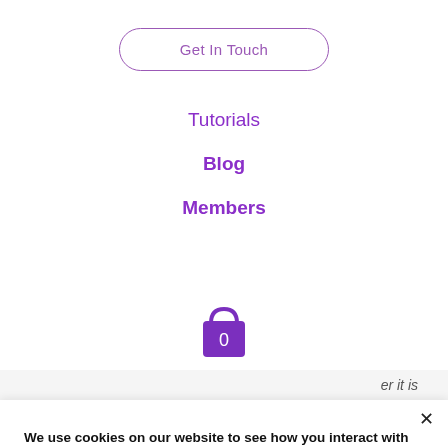Get In Touch
Tutorials
Blog
Members
[Figure (illustration): Purple shopping bag icon with the number 0 on it]
er it is
We use cookies on our website to see how you interact with it. By accepting, you agree to our use of such cookies.
Settings
Accept